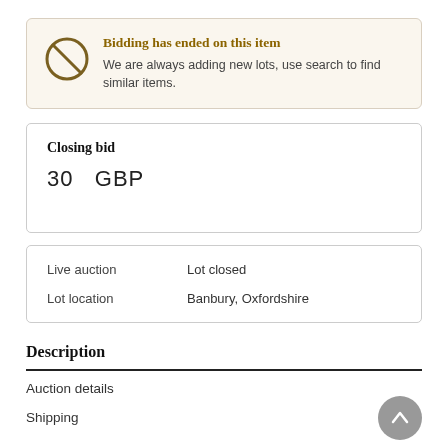Bidding has ended on this item. We are always adding new lots, use search to find similar items.
Closing bid
30   GBP
Live auction   Lot closed
Lot location   Banbury, Oxfordshire
Description
Auction details
Shipping